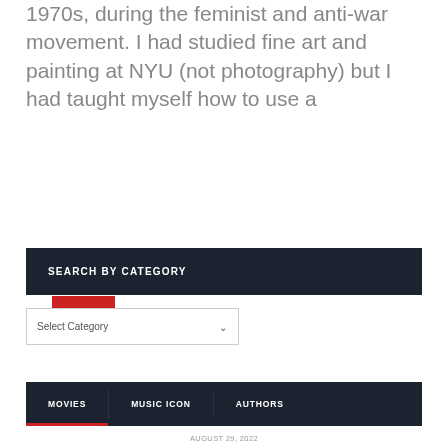1970s, during the feminist and anti-war movement. I had studied fine art and painting at NYU (not photography) but I had taught myself how to use a
READ MORE
SEARCH BY CATEGORY
Select Category
MOVIES   MUSIC ICON   AUTHORS
AUGUST 29, 2022